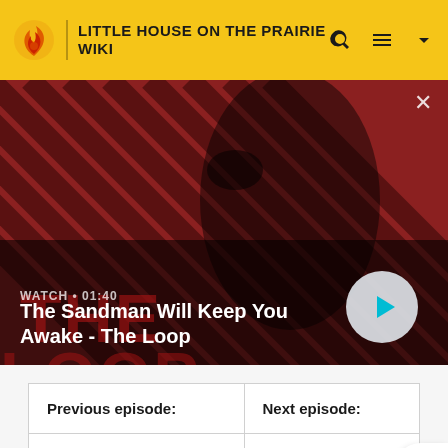LITTLE HOUSE ON THE PRAIRIE WIKI
[Figure (screenshot): Video thumbnail showing a dark-cloaked figure with a raven on shoulder against red and dark diagonal striped background. Shows play button and title overlay: WATCH • 01:40 / The Sandman Will Keep You Awake - The Loop]
| Previous episode: | Next episode: |
| --- | --- |
| Centennial | Going Home |